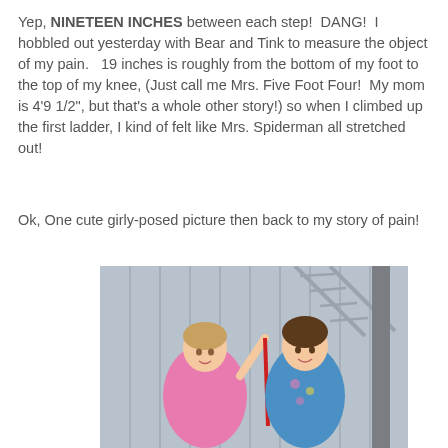Yep, NINETEEN INCHES between each step!  DANG!  I hobbled out yesterday with Bear and Tink to measure the object of my pain.   19 inches is roughly from the bottom of my foot to the top of my knee, (Just call me Mrs. Five Foot Four!  My mom is 4'9 1/2", but that's a whole other story!) so when I climbed up the first ladder, I kind of felt like Mrs. Spiderman all stretched out!
Ok, One cute girly-posed picture then back to my story of pain!
[Figure (photo): Two young girls standing in front of a metal corrugated wall/structure with a ladder visible behind them. The girl on the left wears a pink outfit and the girl on the right wears a blue floral top. They appear to be holding a red measuring tape or ribbon.]